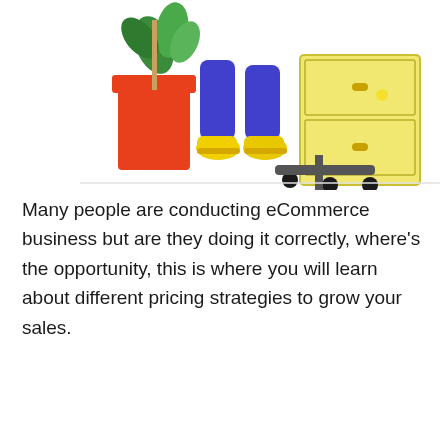[Figure (illustration): Partial illustration showing a person seated at a desk with yellow sneakers, purple pants, next to a large red plant pot with green leaves, and a yellow filing cabinet with a black office chair]
Many people are conducting eCommerce business but are they doing it correctly, where's the opportunity, this is where you will learn about different pricing strategies to grow your sales.